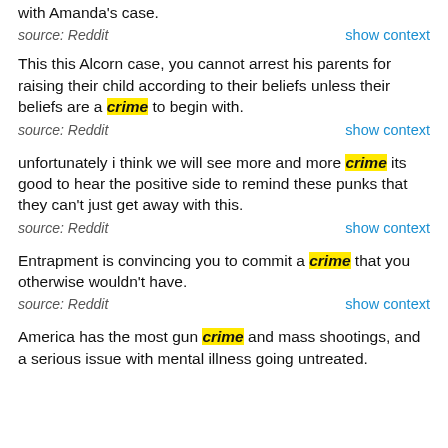with Amanda's case.
source: Reddit
show context
This this Alcorn case, you cannot arrest his parents for raising their child according to their beliefs unless their beliefs are a crime to begin with.
source: Reddit
show context
unfortunately i think we will see more and more crime its good to hear the positive side to remind these punks that they can't just get away with this.
source: Reddit
show context
Entrapment is convincing you to commit a crime that you otherwise wouldn't have.
source: Reddit
show context
America has the most gun crime and mass shootings, and a serious issue with mental illness going untreated.